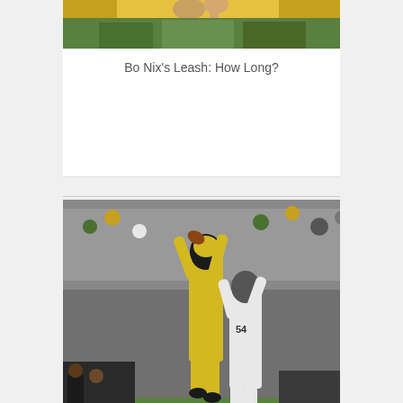[Figure (photo): Partial top view of a football action photo, cropped at top of page]
Bo Nix's Leash: How Long?
[Figure (photo): Football players jumping for a catch near the end zone, Oregon player in yellow/black uniform competing against defender in white #54]
The End Zone Fade: Oregon Can Run It Now!